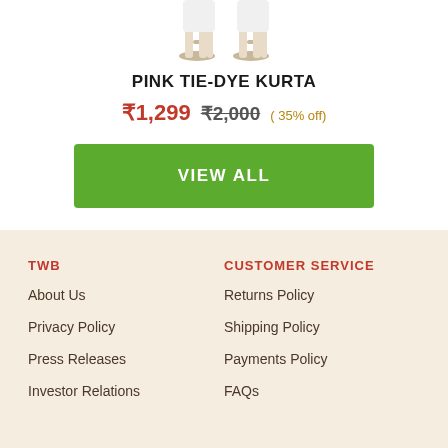[Figure (photo): Partial view of a model wearing sandals and white pants, cropped at the feet/ankle area]
PINK TIE-DYE KURTA
₹1,299  ₹2,000 ( 35% off)
VIEW ALL
TWB
CUSTOMER SERVICE
About Us
Returns Policy
Privacy Policy
Shipping Policy
Press Releases
Payments Policy
Investor Relations
FAQs